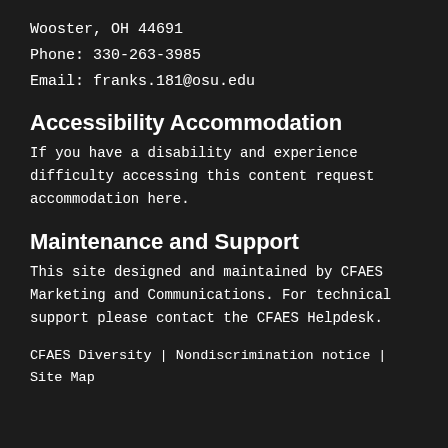Wooster, OH 44691
Phone: 330-263-3985
Email: franks.181@osu.edu
Accessibility Accommodation
If you have a disability and experience difficulty accessing this content request accommodation here.
Maintenance and Support
This site designed and maintained by CFAES Marketing and Communications. For technical support please contact the CFAES Helpdesk.
CFAES Diversity  |  Nondiscrimination notice  |  Site Map